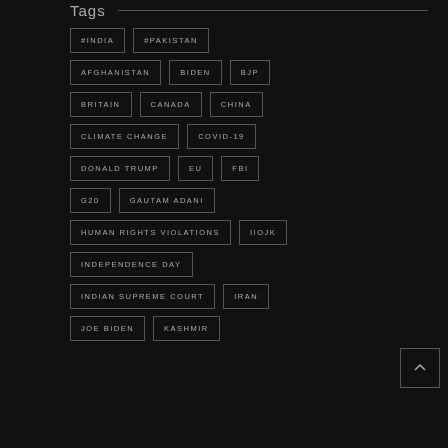Tags
#INDIA
#PAKISTAN
AFGHANISTAN
BIDEN
BJP
BRITAIN
CANADA
CHINA
CLIMATE CHANGE
COVID-19
DONALD TRUMP
EU
FBI
G20
GAUTAM ADANI
HUMAN RIGHTS VIOLATIONS
IIOJK
INDEPENDENCE DAY
INDIAN SUPREME COURT
IRAN
JOE BIDEN
KASHMIR